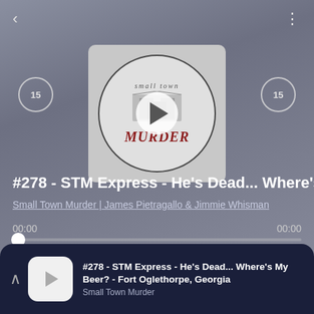[Figure (screenshot): Podcast player UI screenshot showing Small Town Murder podcast episode #278 - STM Express - He's Dead... Where's My Beer? - Fort Oglethorpe, Georgia. Shows album art with circular logo, play button, skip 15 buttons, progress bar at 00:00, and bottom mini-player bar.]
#278 - STM Express - He's Dead... Where's My Beer? - Fo
Small Town Murder | James Pietragallo & Jimmie Whisman
00:00  00:00
Next |
#278 - STM Express - He's Dead... Where's My Beer? - Fort Oglethorpe, Georgia
Small Town Murder